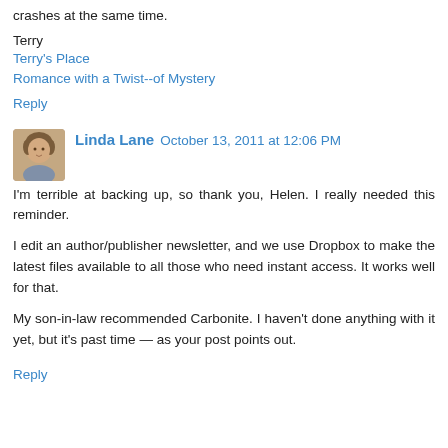crashes at the same time.
Terry
Terry's Place
Romance with a Twist--of Mystery
Reply
Linda Lane  October 13, 2011 at 12:06 PM
I'm terrible at backing up, so thank you, Helen. I really needed this reminder.
I edit an author/publisher newsletter, and we use Dropbox to make the latest files available to all those who need instant access. It works well for that.
My son-in-law recommended Carbonite. I haven't done anything with it yet, but it's past time — as your post points out.
Reply